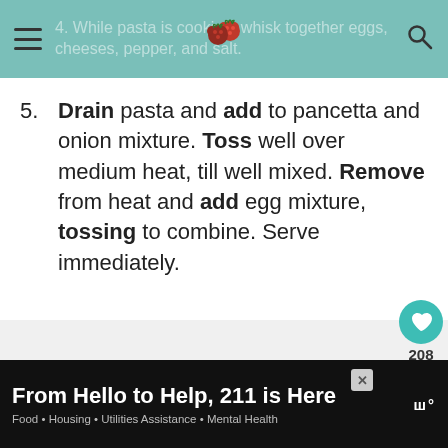4. While pasta is cooking, whisk together eggs, cheeses, pepper, and salt.
5. Drain pasta and add to pancetta and onion mixture. Toss well over medium heat, till well mixed. Remove from heat and add egg mixture, tossing to combine. Serve immediately.
[Figure (other): Floating action buttons: heart/favorite icon (teal circle), count 208, share icon (white circle). What's Next card showing Beef Crostini with Blue... with thumbnail image.]
From Hello to Help, 211 is Here
Food • Housing • Utilities Assistance • Mental Health